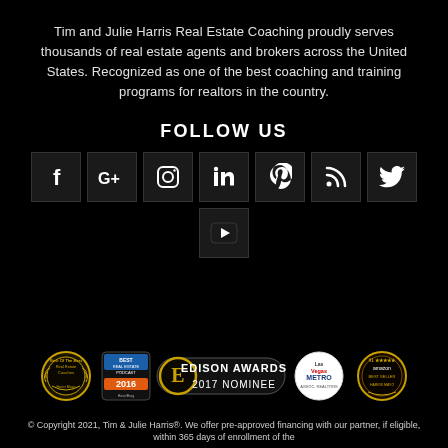Tim and Julie Harris Real Estate Coaching proudly serves thousands of real estate agents and brokers across the United States. Recognized as one of the best coaching and training programs for realtors in the country.
FOLLOW US
[Figure (infographic): Row of social media icon buttons: Facebook, Google+, Instagram, LinkedIn, Pinterest, RSS, Twitter, and YouTube]
[Figure (infographic): Row of award badges: Best of the Best Real Estate Coaches, Best Real Estate Podcast 2016, Edison Awards 2017 Nominee, Las Vegas Metro, Amazon Best Seller]
© Copyright 2021, Tim & Julie Harris®. We offer pre-approved financing with our partner, if eligible, within 365 days of enrollment of the